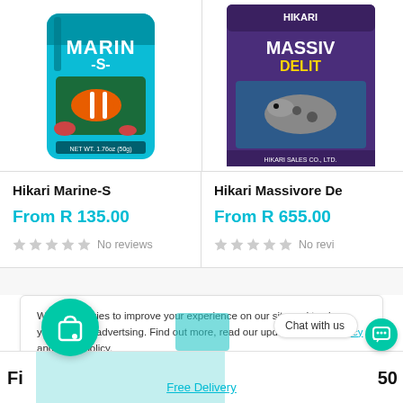[Figure (photo): Hikari Marine-S fish food product package, teal/blue bag with clownfish image]
Hikari Marine-S
From R 135.00
No reviews
[Figure (photo): Hikari Massivore Delite fish food product package, purple box, partially cropped]
Hikari Massivore De...
From R 655.00
No revi...
We use cookies to improve your experience on our site and to show you relevant advertsing. Find out more, read our updated privacy policy and cookie policy.
Free Delivery
Chat with us